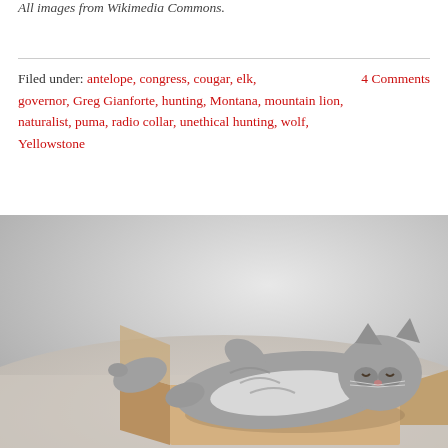All images from Wikimedia Commons.
Filed under: antelope, congress, cougar, elk, governor, Greg Gianforte, hunting, Montana, mountain lion, naturalist, puma, radio collar, unethical hunting, wolf, Yellowstone   4 Comments
[Figure (photo): A gray tabby cat lying on its back inside a cardboard box, legs stretched out, eyes half-closed, on a carpeted floor.]